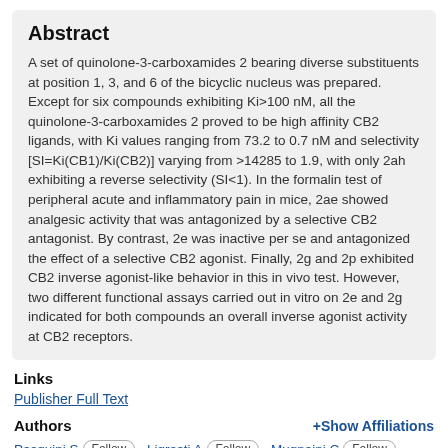Abstract
A set of quinolone-3-carboxamides 2 bearing diverse substituents at position 1, 3, and 6 of the bicyclic nucleus was prepared. Except for six compounds exhibiting Ki>100 nM, all the quinolone-3-carboxamides 2 proved to be high affinity CB2 ligands, with Ki values ranging from 73.2 to 0.7 nM and selectivity [SI=Ki(CB1)/Ki(CB2)] varying from >14285 to 1.9, with only 2ah exhibiting a reverse selectivity (SI<1). In the formalin test of peripheral acute and inflammatory pain in mice, 2ae showed analgesic activity that was antagonized by a selective CB2 antagonist. By contrast, 2e was inactive per se and antagonized the effect of a selective CB2 agonist. Finally, 2g and 2p exhibited CB2 inverse agonist-like behavior in this in vivo test. However, two different functional assays carried out in vitro on 2e and 2g indicated for both compounds an overall inverse agonist activity at CB2 receptors.
Links
Publisher Full Text
Authors
+Show Affiliations
Pasquini S, Follow, Ligresti A, Follow, Mugnaini C, Follow,